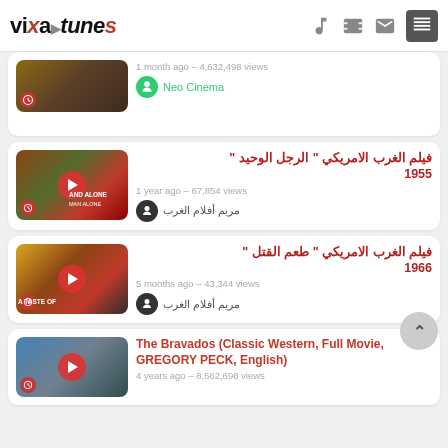vixa tunes — navigation icons: music note, film strip, mail, menu
[Figure (screenshot): Partial video card showing thumbnail of western scene, clock icon, metadata: 1 month ago - 4,632,498 views, channel: Neo Cinema]
[Figure (screenshot): Video card: فيلم الغرب الامريكي " الرجل الوحيد " 1955, 1 year ago - 67,854 views, channel: مريم أفلام الغرب, thumbnail showing Man Alone western film]
[Figure (screenshot): Video card: فيلم الغرب الامريكي " طعم القتل " 1966, 5 months ago - 43,344 views, channel: مريم أفلام الغرب, thumbnail showing A Taste of Killing]
[Figure (screenshot): Partial video card: The Bravados (Classic Western, Full Movie, GREGORY PECK, English), 4 years ago - 8,562,698 views]